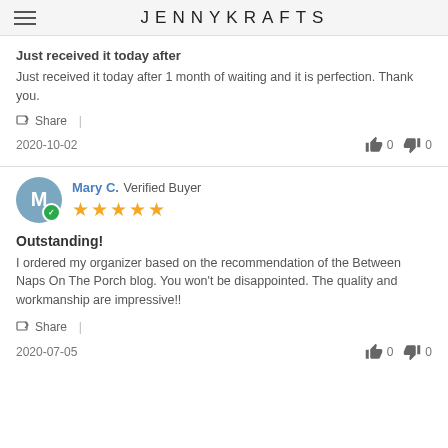JENNYKRAFTS
Just received it today after
Just received it today after 1 month of waiting and it is perfection. Thank you.
Share |
2020-10-02   👍 0   👎 0
Mary C. Verified Buyer
Outstanding!
I ordered my organizer based on the recommendation of the Between Naps On The Porch blog. You won't be disappointed. The quality and workmanship are impressive!!
Share |
2020-07-05   👍 0   👎 0